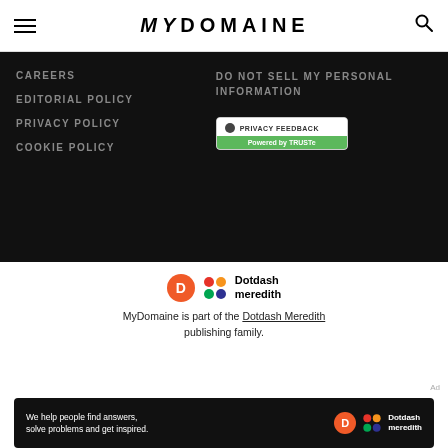MyDomaine
CAREERS
EDITORIAL POLICY
PRIVACY POLICY
COOKIE POLICY
DO NOT SELL MY PERSONAL INFORMATION
[Figure (logo): Privacy Feedback badge powered by TRUSTe]
[Figure (logo): Dotdash Meredith logo with orange D circle and colorful pattern]
MyDomaine is part of the Dotdash Meredith publishing family.
We've updated our Privacy Policy, which will go in to effect on September 1, 2022. Review our Privacy Policy
Ad
[Figure (infographic): Dotdash Meredith ad banner: We help people find answers, solve problems and get inspired.]